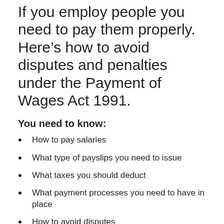If you employ people you need to pay them properly. Here’s how to avoid disputes and penalties under the Payment of Wages Act 1991.
You need to know:
How to pay salaries
What type of payslips you need to issue
What taxes you should deduct
What payment processes you need to have in place
How to avoid disputes